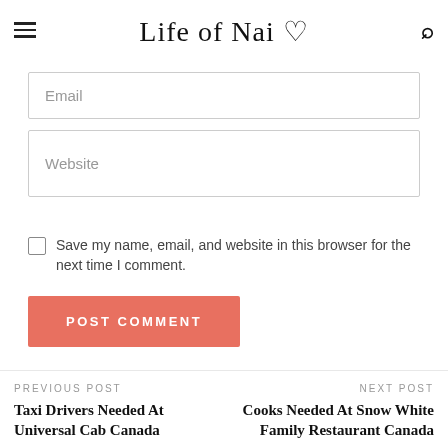Life of Nai ♡
Email
Website
Save my name, email, and website in this browser for the next time I comment.
POST COMMENT
PREVIOUS POST
Taxi Drivers Needed At Universal Cab Canada
NEXT POST
Cooks Needed At Snow White Family Restaurant Canada